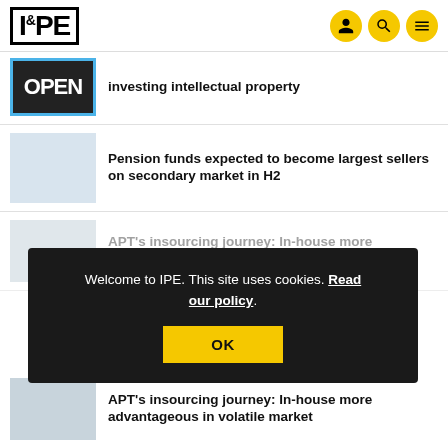IPE
investing intellectual property
[Figure (photo): OPEN sign photo thumbnail]
Pension funds expected to become largest sellers on secondary market in H2
[Figure (photo): Light fabric/textile thumbnail]
Welcome to IPE. This site uses cookies. Read our policy.
APT's insourcing journey: In-house more advantageous in volatile market
[Figure (photo): Person thumbnail (faded)]